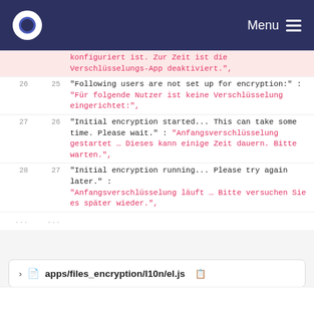Menu
| line_old | line_new | code |
| --- | --- | --- |
|  |  | konfiguriert ist. Zur Zeit ist die Verschlüsselungs-App deaktiviert.", |
| 26 | 25 | "Following users are not set up for encryption:" : "Für folgende Nutzer ist keine Verschlüsselung eingerichtet:", |
| 27 | 26 | "Initial encryption started... This can take some time. Please wait." : "Anfangsverschlüsselung gestartet … Dieses kann einige Zeit dauern. Bitte warten.", |
| 28 | 27 | "Initial encryption running... Please try again later." : "Anfangsverschlüsselung läuft … Bitte versuchen Sie es später wieder.", |
| ... | ... |  |
apps/files_encryption/l10n/el.js